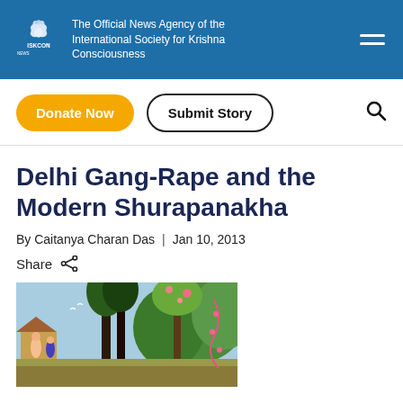The Official News Agency of the International Society for Krishna Consciousness
Donate Now
Submit Story
Delhi Gang-Rape and the Modern Shurapanakha
By Caitanya Charan Das  |  Jan 10, 2013
Share
[Figure (illustration): Traditional Indian painting depicting figures in a lush forest/garden setting with trees, flowers, and architectural elements]